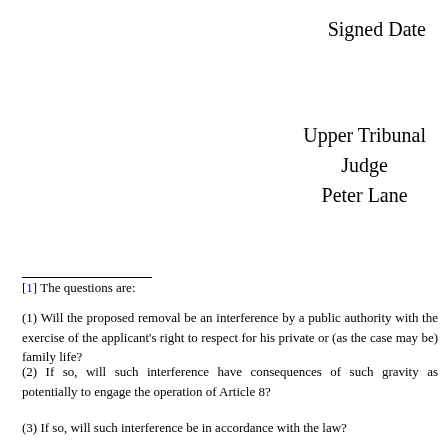Signed Date
Upper Tribunal Judge Peter Lane
[1] The questions are:
(1) Will the proposed removal be an interference by a public authority with the exercise of the applicant’s right to respect for his private or (as the case may be) family life?
(2) If so, will such interference have consequences of such gravity as potentially to engage the operation of Article 8?
(3) If so, will such interference be in accordance with the law?